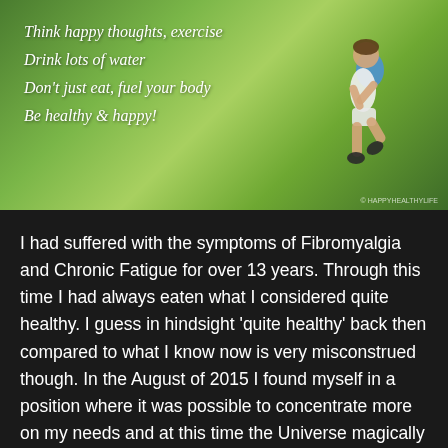[Figure (photo): Photo of a person running on a green grassy hill with motivational text overlay: 'Think happy thoughts, exercise / Drink lots of water / Don't just eat, fuel your body / Be healthy & happy!']
I had suffered with the symptoms of Fibromyalgia and Chronic Fatigue for over 13 years. Through this time I had always eaten what I considered quite healthy. I guess in hindsight 'quite healthy' back then compared to what I know now is very misconstrued though. In the August of 2015 I found myself in a position where it was possible to concentrate more on my needs and at this time the Universe magically provided me with the people I needed to be